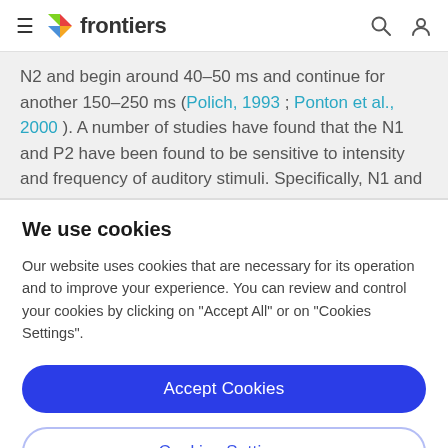frontiers
N2 and begin around 40–50 ms and continue for another 150–250 ms (Polich, 1993 ; Ponton et al., 2000 ). A number of studies have found that the N1 and P2 have been found to be sensitive to intensity and frequency of auditory stimuli. Specifically, N1 and P2 amplitude
We use cookies
Our website uses cookies that are necessary for its operation and to improve your experience. You can review and control your cookies by clicking on "Accept All" or on "Cookies Settings".
Accept Cookies
Cookies Settings